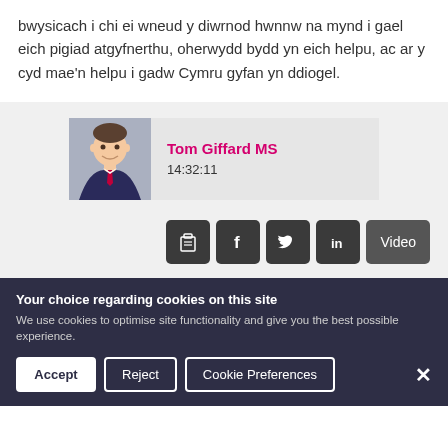bwysicach i chi ei wneud y diwrnod hwnnw na mynd i gael eich pigiad atgyfnerthu, oherwydd bydd yn eich helpu, ac ar y cyd mae'n helpu i gadw Cymru gyfan yn ddiogel.
[Figure (photo): Speaker card with photo of Tom Giffard MS and timestamp 14:32:11]
[Figure (infographic): Action buttons: clipboard icon, Facebook icon, Twitter icon, LinkedIn icon, Video button]
Your choice regarding cookies on this site
We use cookies to optimise site functionality and give you the best possible experience.
Accept
Reject
Cookie Preferences